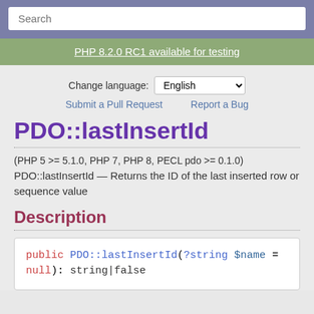Search
PHP 8.2.0 RC1 available for testing
Change language: English
Submit a Pull Request   Report a Bug
PDO::lastInsertId
(PHP 5 >= 5.1.0, PHP 7, PHP 8, PECL pdo >= 0.1.0)
PDO::lastInsertId — Returns the ID of the last inserted row or sequence value
Description
public PDO::lastInsertId(?string $name = null): string|false